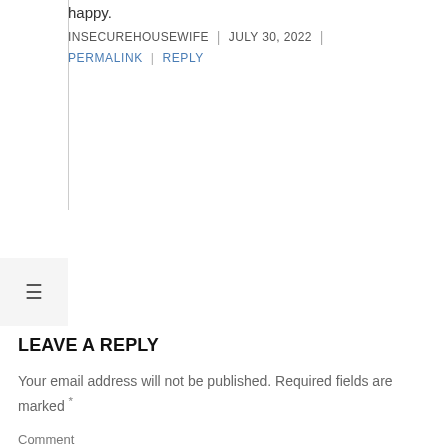happy.
INSECUREHOUSEWIFE | JULY 30, 2022 |
PERMALINK | REPLY
LEAVE A REPLY
Your email address will not be published. Required fields are marked *
Comment
*